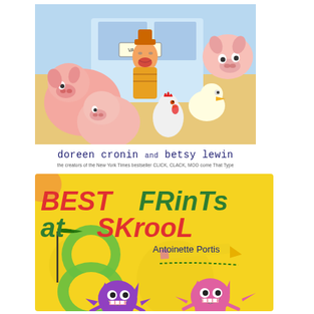[Figure (illustration): Children's book cover illustration showing cartoon farm animals including pigs, a rooster, and a duck, with a farmer figure in the center holding a sign that reads 'VACATION']
doreen cronin and betsy lewin
the creators of the New York Times bestseller CLICK, CLACK, MOO come That Type
[Figure (illustration): Children's book cover for 'BEST FRinTs at SKrooL' by Antoinette Portis. Yellow background with two cartoon alien/monster creatures (purple and pink) at the bottom, a green snake-like shape with circular holes in the middle, and a flag pole with a wavy flag on the left. The title text alternates between red and green colors.]